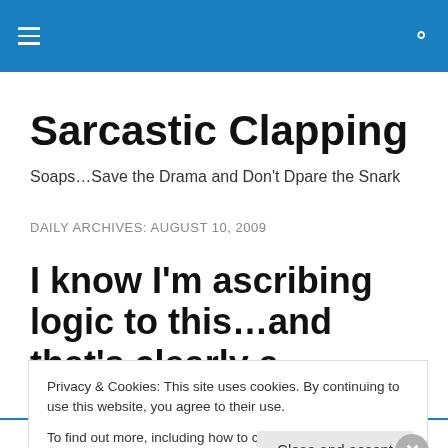Sarcastic Clapping — navigation bar with hamburger menu and search icon
Sarcastic Clapping
Soaps…Save the Drama and Don't Dpare the Snark
DAILY ARCHIVES: AUGUST 10, 2009
I know I'm ascribing logic to this…and that's clearly a
Privacy & Cookies: This site uses cookies. By continuing to use this website, you agree to their use.
To find out more, including how to control cookies, see here: Cookie Policy
Advertisements